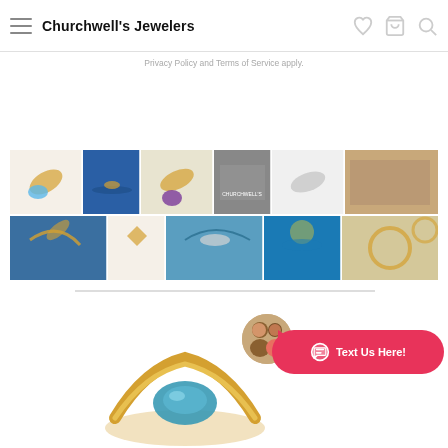Churchwell's Jewelers
Privacy Policy and Terms of Service apply.
[Figure (photo): Collage of jewelry pendants (marlin/swordfish designs in gold with gemstones), ocean fishing photos, store exterior, and jewelry images arranged in two rows of thumbnails.]
[Figure (photo): Gold ring with blue gemstone product image at bottom of page, partially visible.]
[Figure (photo): Chat widget: circular photo of a couple, arrow, and pink rounded button with chat icon and text 'Text Us Here!']